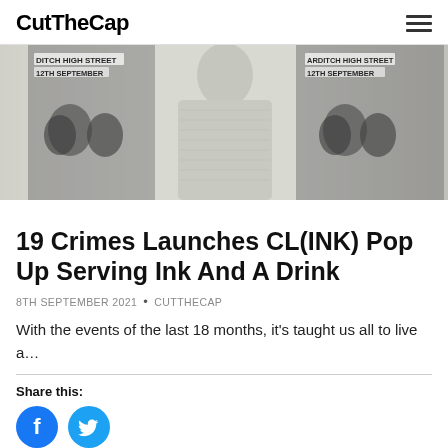CutTheCap
[Figure (photo): Hero image showing a person wearing a white/grey knit sweater standing in front of black and white event posters reading 'DITCH HIGH STREET 12TH SEPTEMBER', shown from two angles/positions]
19 Crimes Launches CL(INK) Pop Up Serving Ink And A Drink
8TH SEPTEMBER 2021 • CUTTHECAP
With the events of the last 18 months, it’s taught us all to live a…
Share this:
[Figure (illustration): Facebook and Twitter social share icon buttons (blue circles with white icons)]
READ MORE